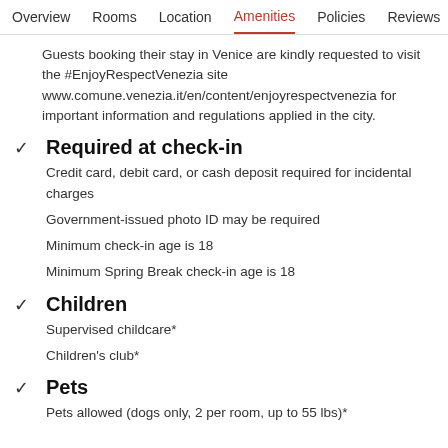Overview  Rooms  Location  Amenities  Policies  Reviews
Guests booking their stay in Venice are kindly requested to visit the #EnjoyRespectVenezia site www.comune.venezia.it/en/content/enjoyrespectvenezia for important information and regulations applied in the city.
Required at check-in
Credit card, debit card, or cash deposit required for incidental charges
Government-issued photo ID may be required
Minimum check-in age is 18
Minimum Spring Break check-in age is 18
Children
Supervised childcare*
Children's club*
Pets
Pets allowed (dogs only, 2 per room, up to 55 lbs)*